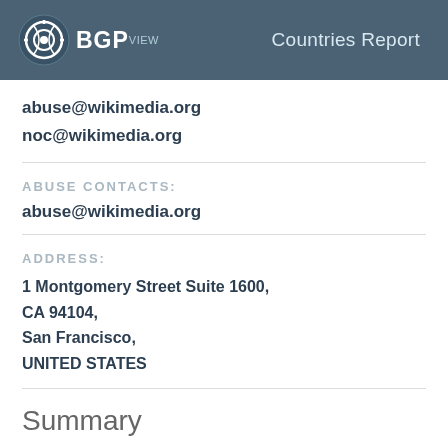BGPview — Countries Report
abuse@wikimedia.org
noc@wikimedia.org
ABUSE CONTACTS:
abuse@wikimedia.org
ADDRESS:
1 Montgomery Street Suite 1600,
CA 94104,
San Francisco,
UNITED STATES
Summary